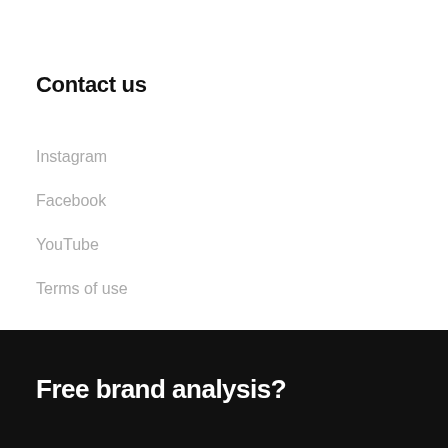Contact us
Instagram
Facebook
YouTube
Terms of use
Free brand analysis?